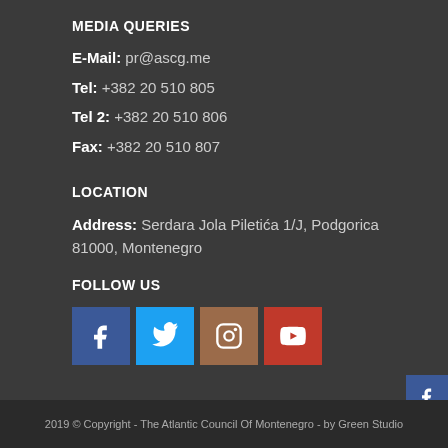MEDIA QUERIES
E-Mail: pr@ascg.me
Tel: +382 20 510 805
Tel 2: +382 20 510 806
Fax: +382 20 510 807
LOCATION
Address: Serdara Jola Piletića 1/J, Podgorica 81000, Montenegro
FOLLOW US
[Figure (infographic): Four social media icon buttons: Facebook (blue), Twitter (cyan), Instagram (brown), YouTube (red)]
[Figure (infographic): Right sidebar with four stacked social media icons: Facebook (blue), Twitter (cyan), Instagram (brown), YouTube (red)]
2019 © Copyright - The Atlantic Council Of Montenegro - by Green Studio